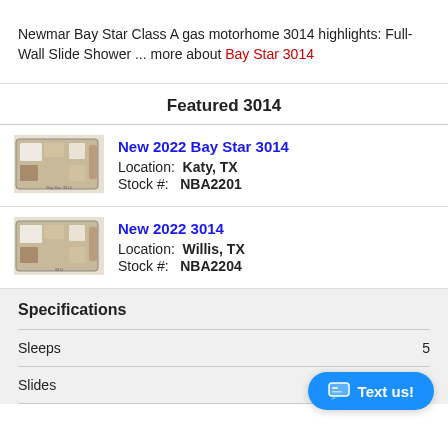Newmar Bay Star Class A gas motorhome 3014 highlights: Full-Wall Slide Shower ... more about Bay Star 3014
Featured 3014
New 2022 Bay Star 3014
Location: Katy, TX
Stock #: NBA2201
[Figure (illustration): Floor plan diagram of Bay Star 3014 motorhome, top-down view]
New 2022 3014
Location: Willis, TX
Stock #: NBA2204
[Figure (illustration): Floor plan diagram of 3014 motorhome, top-down view]
Specifications
Sleeps  5
Slides  2